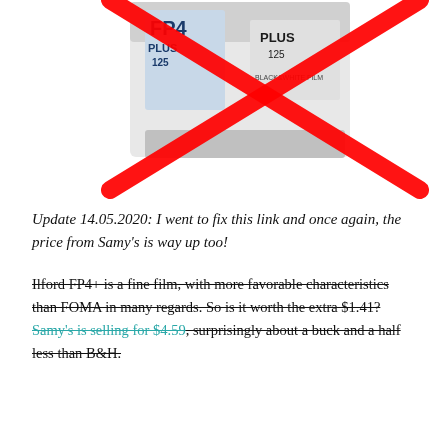[Figure (photo): Photo of an Ilford FP4 Plus 125 black and white film box with a large red X crossed over it.]
Update 14.05.2020: I went to fix this link and once again, the price from Samy's is way up too!
Ilford FP4+ is a fine film, with more favorable characteristics than FOMA in many regards. So is it worth the extra $1.41? Samy's is selling for $4.59, surprisingly about a buck and a half less than B&H.